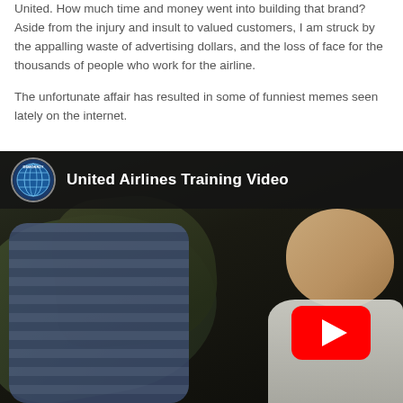United. How much time and money went into building that brand? Aside from the injury and insult to valued customers, I am struck by the appalling waste of advertising dollars, and the loss of face for the thousands of people who work for the airline.
The unfortunate affair has resulted in some of funniest memes seen lately on the internet.
[Figure (screenshot): YouTube video embed showing 'United Airlines Training Video' with a channel icon (globe logo), white title text on dark background, and a play button (red rounded rectangle with white triangle). The video thumbnail shows two people in what appears to be a physical altercation in a confined space.]